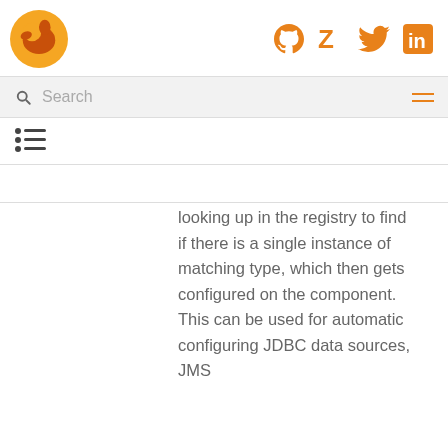Camel logo with social icons: GitHub, Zulip, Twitter, LinkedIn
Search
[Figure (other): Table of contents / list icon]
looking up in the registry to find if there is a single instance of matching type, which then gets configured on the component. This can be used for automatic configuring JDBC data sources, JMS